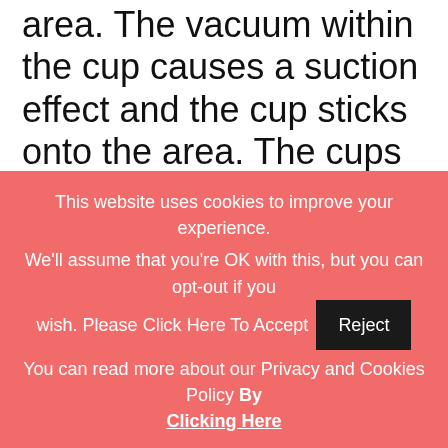area.  The vacuum within the cup causes a suction effect and the cup sticks onto the area.  The cups can feel quite tight on the skin and it may even feel like a pinching.  Occasionally, bruising or discoloration may occur on the area where the cup was used.  This is just where the suction has brought blood to the surface of the skin.  It is not painful but your therapist will explain this to the patient and it is usually used on areas that
This website uses cookies to improve your experience. We'll assume that you're OK with this, but you can opt-out if you wish. Please Click Here To Accept   Reject   You can read more about our Privacy and Cookies Policy By Clicking Here